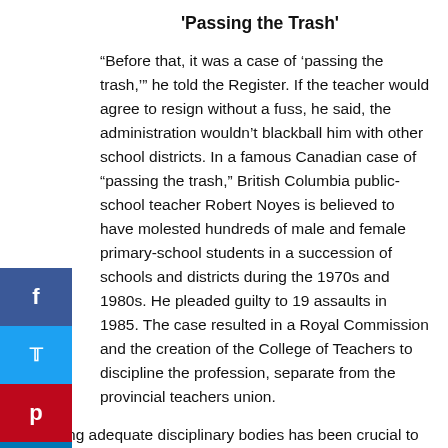'Passing the Trash'
“Before that, it was a case of ‘passing the trash,’” he told the Register. If the teacher would agree to resign without a fuss, he said, the administration wouldn’t blackball him with other school districts. In a famous Canadian case of “passing the trash,” British Columbia public-school teacher Robert Noyes is believed to have molested hundreds of male and female primary-school students in a succession of schools and districts during the 1970s and 1980s. He pleaded guilty to 19 assaults in 1985. The case resulted in a Royal Commission and the creation of the College of Teachers to discipline the profession, separate from the provincial teachers union.
Having adequate disciplinary bodies has been crucial to cracking down on sexual misconduct in the health professions and the clergy of many denominations, said John Gonsiorek, a professor of clinical psychology at Minnesota’s Argosy University Twin Cities. His own profession of psychotherapy was